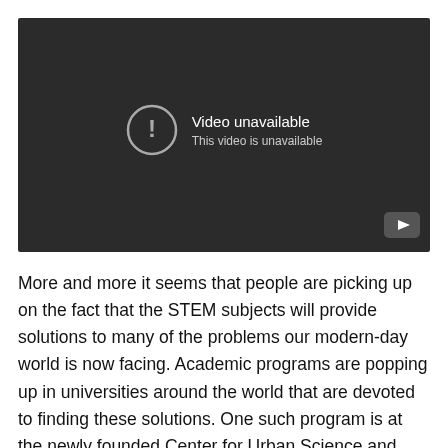[Figure (screenshot): Embedded YouTube video player showing 'Video unavailable - This video is unavailable' error message on a dark background, with a YouTube logo button in the bottom-right corner.]
More and more it seems that people are picking up on the fact that the STEM subjects will provide solutions to many of the problems our modern-day world is now facing. Academic programs are popping up in universities around the world that are devoted to finding these solutions. One such program is at the newly founded Center for Urban Science and Progress located in downtown Brooklyn...